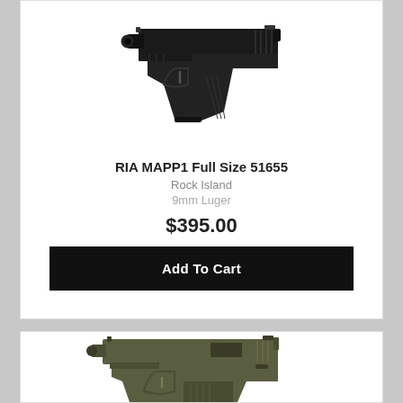[Figure (photo): Black semi-automatic pistol (RIA MAPP1 Full Size) shown in profile view on white background]
RIA MAPP1 Full Size 51655
Rock Island
9mm Luger
$395.00
Add To Cart
[Figure (photo): Olive/green 1911-style semi-automatic pistol shown in partial view at bottom of page]